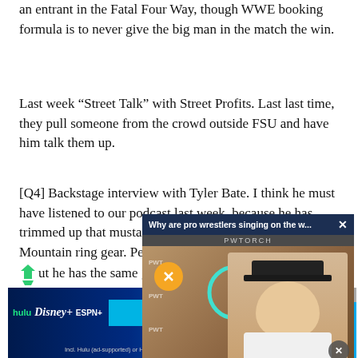an entrant in the Fatal Four Way, though WWE booking formula is to never give the big man in the match the win.
Last week “Street Talk” with Street Profits. Last last time, they pull someone from the crowd outside FSU and have him talk them up.
[Q4] Backstage interview with Tyler Bate. I think he must have listened to our podcast last week, because he has trimmed up that musta... less scraggly look. He al... Mountain ring gear. Pet... heel, yet gets big cheers... but he has the same gr... Steve Austin, and Broc... what th... mature you wa...
[Figure (screenshot): Video popup overlay with title 'Why are pro wrestlers singing on the w...' and PWTORCH branding, showing a man in a black cap with mute button and loading spinner]
[Figure (screenshot): Disney Bundle advertisement banner showing Hulu, Disney+, ESPN+ logos and 'GET THE DISNEY BUNDLE' button with fine print about access and 2021 Disney entities]